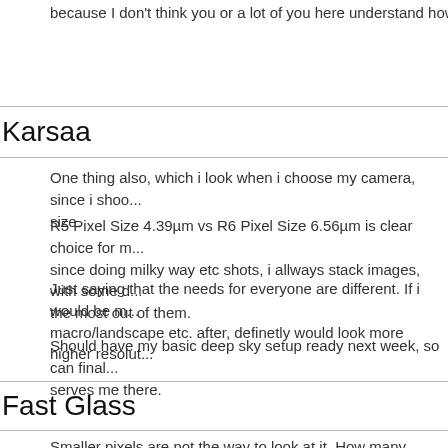because I don't think you or a lot of you here understand how resolu...
Karsaa
One thing also, which i look when i choose my camera, since i shoo... size.
R5 Pixel Size 4.39μm vs R6 Pixel Size 6.56μm is clear choice for m... since doing milky way etc shots, i allways stack images, with some ... the most out of them.
Just saying that the needs for everyone are different. If i would be m... macro/landscape etc. after, definetly would look more higher resolut...
Should have my basic deep sky setup ready next week, so can final... serves me there.
Fast Glass
Smaller pixels are not the way to look at it. How many pixels is not t... overall sensor noise at a particular output size that is critical.
As I said before read up on the Sony A1 review and he will say bas...